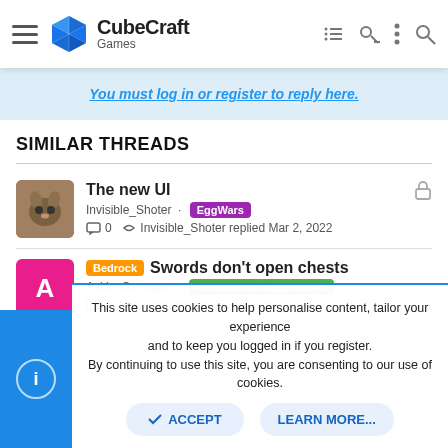CubeCraft Games
You must log in or register to reply here.
SIMILAR THREADS
The new UI · Invisible_Shoter · EggWars · 0 replies · Invisible_Shoter replied Mar 2, 2022
Bedrock · Swords don't open chests · AskingSamagra · Feedback & Suggestions · 12 replies · khco replied Dec 23, 2021
This site uses cookies to help personalise content, tailor your experience and to keep you logged in if you register.
By continuing to use this site, you are consenting to our use of cookies.